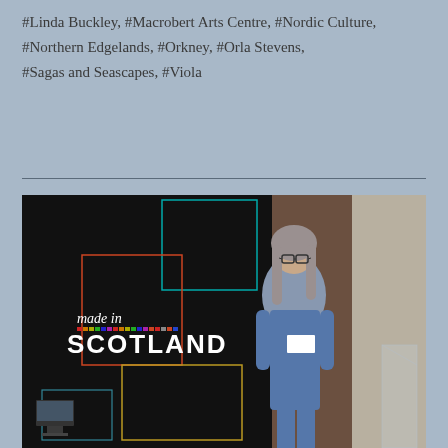#Linda Buckley, #Macrobert Arts Centre, #Nordic Culture, #Northern Edgelands, #Orkney, #Orla Stevens, #Sagas and Seascapes, #Viola
[Figure (photo): A woman with long grey hair and glasses, wearing a blue sleeveless dress and a name badge, standing in front of a 'Made in Scotland' banner. A laptop on a stand is visible to the left and a clear lectern is partially visible on the right.]